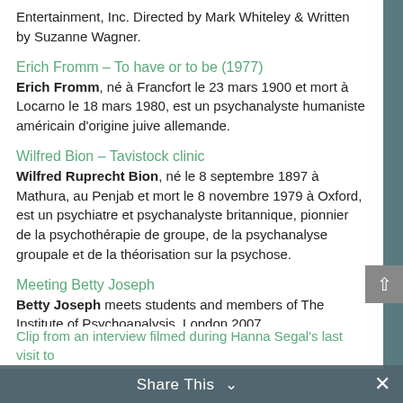Entertainment, Inc. Directed by Mark Whiteley & Written by Suzanne Wagner.
Erich Fromm – To have or to be (1977)
Erich Fromm, né à Francfort le 23 mars 1900 et mort à Locarno le 18 mars 1980, est un psychanalyste humaniste américain d'origine juive allemande.
Wilfred Bion – Tavistock clinic
Wilfred Ruprecht Bion, né le 8 septembre 1897 à Mathura, au Penjab et mort le 8 novembre 1979 à Oxford, est un psychiatre et psychanalyste britannique, pionnier de la psychothérapie de groupe, de la psychanalyse groupale et de la théorisation sur la psychose.
Meeting Betty Joseph
Betty Joseph meets students and members of The Institute of Psychoanalysis, London 2007
Meeting Anne Marie Sandler
Trailer for 'Meeting Anne Marie Sandler' from the series 'Encounters through Generations'
Clip from an interview filmed during Hanna Segal's last visit to